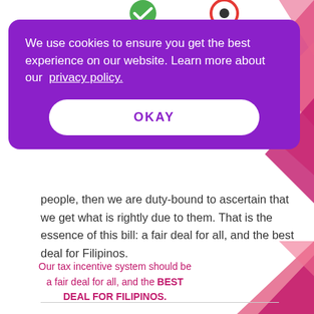[Figure (screenshot): Cookie consent popup overlay on a website, purple background with white text and an OKAY button, over a government/policy webpage showing text about Filipino tax incentive bill.]
We use cookies to ensure you get the best experience on our website. Learn more about our privacy policy.
OKAY
people, then we are duty-bound to ascertain that we get what is rightly due to them. That is the essence of this bill: a fair deal for all, and the best deal for Filipinos.
Our tax incentive system should be a fair deal for all, and the BEST DEAL FOR FILIPINOS.